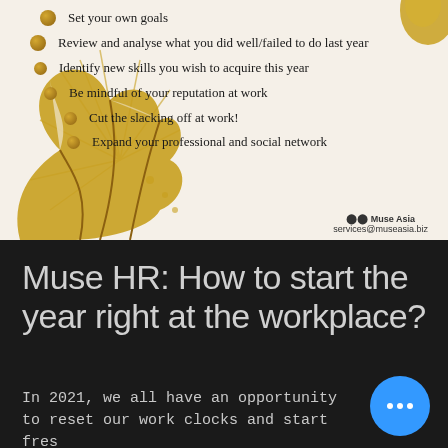Set your own goals
Review and analyse what you did well/failed to do last year
Identify new skills you wish to acquire this year
Be mindful of your reputation at work
Cut the slacking off at work!
Expand your professional and social network
Muse Asia
services@museasia.biz
Muse HR: How to start the year right at the workplace?
In 2021, we all have an opportunity to reset our work clocks and start fresh. Whether in your new role, new company or new goals, what's